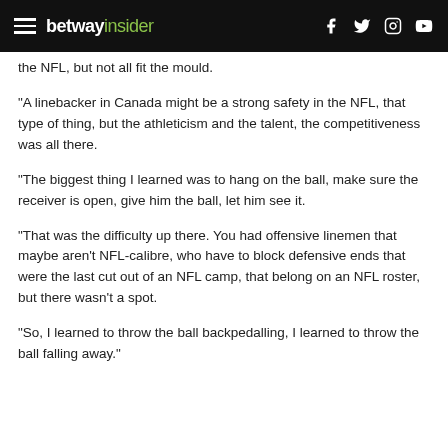betway insider
the NFL, but not all fit the mould.
“A linebacker in Canada might be a strong safety in the NFL, that type of thing, but the athleticism and the talent, the competitiveness was all there.
“The biggest thing I learned was to hang on the ball, make sure the receiver is open, give him the ball, let him see it.
“That was the difficulty up there. You had offensive linemen that maybe aren’t NFL-calibre, who have to block defensive ends that were the last cut out of an NFL camp, that belong on an NFL roster, but there wasn’t a spot.
“So, I learned to throw the ball backpedalling, I learned to throw the ball falling away.”